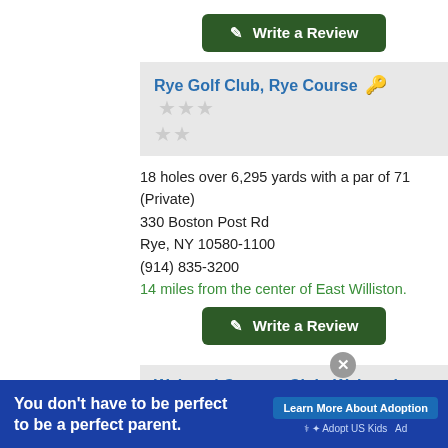[Figure (other): Write a Review button (dark green, top center-right)]
Rye Golf Club, Rye Course 🔑 ★★★★★
18 holes over 6,295 yards with a par of 71 (Private)
330 Boston Post Rd
Rye, NY 10580-1100
(914) 835-3200
14 miles from the center of East Williston.
[Figure (other): Write a Review button (dark green)]
Wykagyl Country Club, Wykagyl Course 🔑 ★★★★★
18 holes over 6,702 yards with a par of 72 (Private)
[Figure (other): Advertisement banner: You don't have to be perfect to be a perfect parent. Learn More About Adoption. Adopt US Kids.]